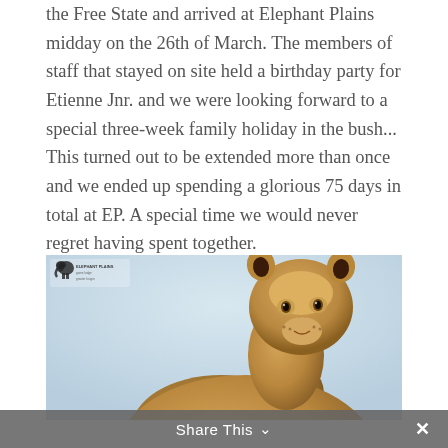the Free State and arrived at Elephant Plains midday on the 26th of March. The members of staff that stayed on site held a birthday party for Etienne Jnr. and we were looking forward to a special three-week family holiday in the bush... This turned out to be extended more than once and we ended up spending a glorious 75 days in total at EP. A special time we would never regret having spent together.
[Figure (photo): Two lions photographed against a light blue sky background. A young adult lion is prominently in the foreground looking upward, with a second lion visible below. Small Elephant Plains logo watermark in top left corner of the photo.]
Share This ∨  ×